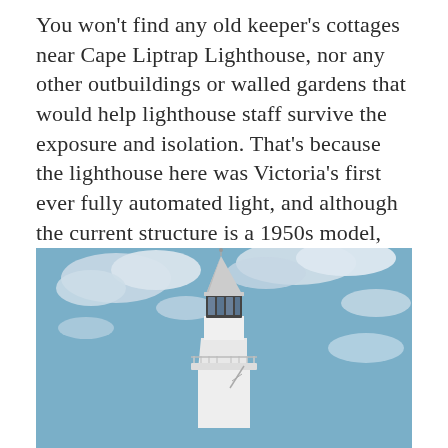You won't find any old keeper's cottages near Cape Liptrap Lighthouse, nor any other outbuildings or walled gardens that would help lighthouse staff survive the exposure and isolation. That's because the lighthouse here was Victoria's first ever fully automated light, and although the current structure is a 1950s model, even the original in 1913 never needed anybody on hand to keep the lights burning.
[Figure (photo): Photograph of the top of Cape Liptrap Lighthouse — a white cylindrical tower with a conical metal roof and dark-windowed lantern room, with a balcony railing, set against a partly cloudy blue sky.]